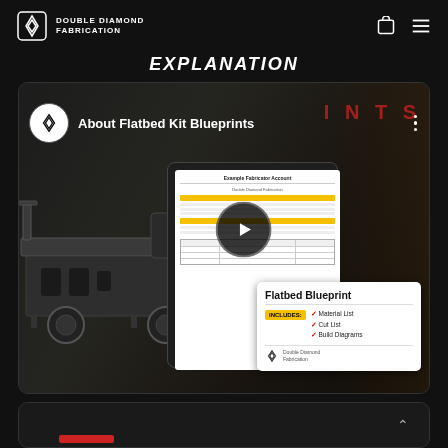Double Diamond Fabrication
Explanation
[Figure (screenshot): YouTube-style video thumbnail for 'About Flatbed Kit Blueprints' by Double Diamond Fabrication, showing a flatbed truck bed in a workshop with blueprint documents overlaid including a Flatbed Blueprint card listing Material List, Cut List, Build Diagrams. Red text 'BLUEPRINTS' visible in background. Play button in center.]
[Figure (screenshot): Bottom portion of a second content card partially visible at the bottom of the page, with a red button element and up arrow.]